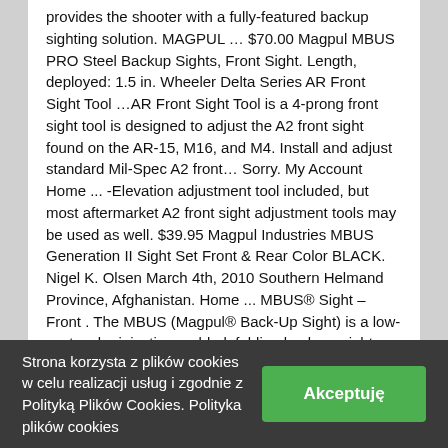provides the shooter with a fully-featured backup sighting solution. MAGPUL … $70.00 Magpul MBUS PRO Steel Backup Sights, Front Sight. Length, deployed: 1.5 in. Wheeler Delta Series AR Front Sight Tool …AR Front Sight Tool is a 4-prong front sight tool is designed to adjust the A2 front sight found on the AR-15, M16, and M4. Install and adjust standard Mil-Spec A2 front… Sorry. My Account Home ... -Elevation adjustment tool included, but most aftermarket A2 front sight adjustment tools may be used as well. $39.95 Magpul Industries MBUS Generation II Sight Set Front & Rear Color BLACK. Nigel K. Olsen March 4th, 2010 Southern Helmand Province, Afghanistan. Home ... MBUS® Sight – Front . The MBUS (Magpul® Back-Up Sight) is a low-cost, color injection molded, folding back-up sight. Magpul MBUS Pro - Magpul Back-Up AR-15 Sight Set - Front & Rear with Free MSP Silicone Gun Cloth . 4.8 out of 5 stars 1,484. The
Strona korzysta z plików cookies w celu realizacji usług i zgodnie z Polityką Plików Cookies. Polityka plików cookies